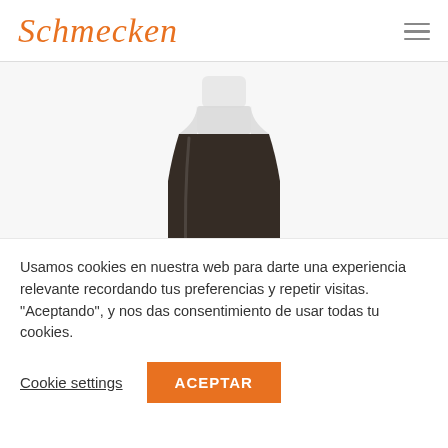Schmecken
[Figure (photo): A dark-colored liquid in a clear plastic bottle with a white cap, partially visible from the top, on a light background.]
Usamos cookies en nuestra web para darte una experiencia relevante recordando tus preferencias y repetir visitas. “Aceptando”, y nos das consentimiento de usar todas tu cookies.
Cookie settings
ACEPTAR